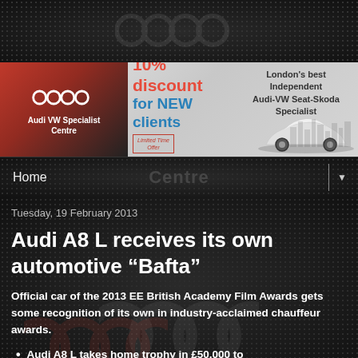[Figure (illustration): Dark textured top banner with dotted pattern and faint Audi watermark logo]
[Figure (illustration): Advertisement banner for Audi VW Specialist Centre: '10% discount for NEW clients', Limited Time Offer, www.audivwsc.co.uk, London's best Independent Audi-VW Seat-Skoda Specialist, with white sports car image]
Home ▼
Tuesday, 19 February 2013
Audi A8 L receives its own automotive “Bafta”
Official car of the 2013 EE British Academy Film Awards gets some recognition of its own in industry-acclaimed chauffeur awards.
Audi A8 L takes home trophy in £50,000 to £75,000 category